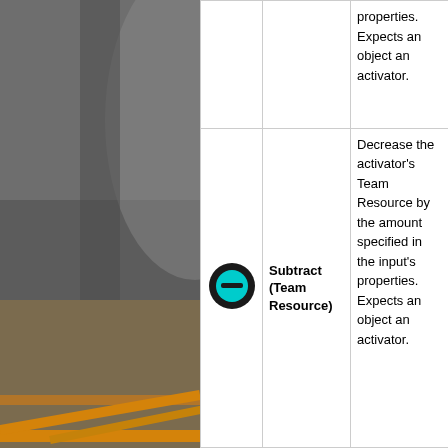[Figure (photo): Background photo of an indoor industrial or gymnasium space with orange railings/scaffolding, dimly lit]
| Icon | Name | Description |
| --- | --- | --- |
| [icon] |  | properties. Expects an object an activator. |
| [subtract icon - minus circle] | Subtract (Team Resource) | Decrease the activator's Team Resource by the amount specified in the input's properties. Expects an object an activator. |